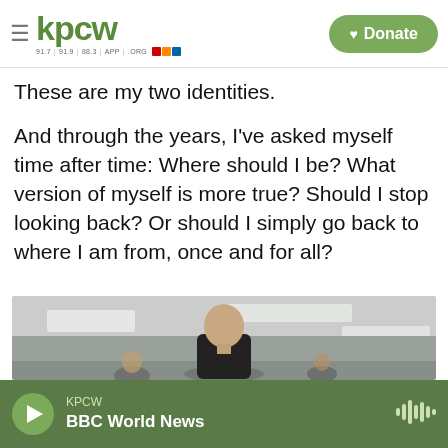KPCW 91.7 | 91.9 | 88.3 | APP | .ORG — Donate
These are my two identities.
And through the years, I've asked myself time after time: Where should I be? What version of myself is more true? Should I stop looking back? Or should I simply go back to where I am from, once and for all?
[Figure (photo): A bald man wearing a black short-sleeve shirt standing in what appears to be a corridor or indoor space with ceiling lights visible. Other people partially visible in the background.]
KPCW — BBC World News (player bar)